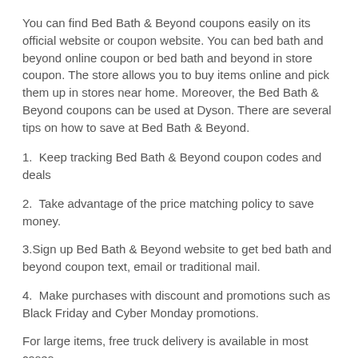You can find Bed Bath & Beyond coupons easily on its official website or coupon website. You can bed bath and beyond online coupon or bed bath and beyond in store coupon. The store allows you to buy items online and pick them up in stores near home. Moreover, the Bed Bath & Beyond coupons can be used at Dyson. There are several tips on how to save at Bed Bath & Beyond.
1.  Keep tracking Bed Bath & Beyond coupon codes and deals
2.  Take advantage of the price matching policy to save money.
3.Sign up Bed Bath & Beyond website to get bed bath and beyond coupon text, email or traditional mail.
4.  Make purchases with discount and promotions such as Black Friday and Cyber Monday promotions.
For large items, free truck delivery is available in most cases.